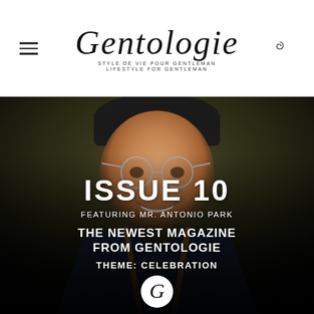Gentologie — Style de vie pour Gentleman / Lifestyle for Gentleman
[Figure (photo): Smiling Asian man wearing round glasses, a dark cap, and a dark patterned jacket with brown leather suspenders, photographed against a dark textured background. Below him are champagne glasses.]
ISSUE 10
FEATURING MR. ANTONIO PARK
THE NEWEST MAGAZINE FROM GENTOLOGIE
THEME: CELEBRATION